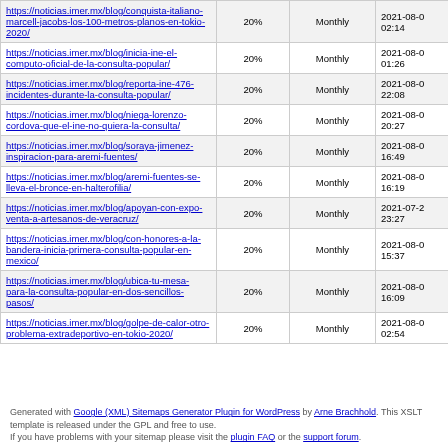| URL | Priority | Change Frequency | LastModified |
| --- | --- | --- | --- |
| https://noticias.imer.mx/blog/conquista-italiano-marcell-jacobs-los-100-metros-planos-en-tokio-2020/ | 20% | Monthly | 2021-08-0 02:14 |
| https://noticias.imer.mx/blog/inicia-ine-el-computo-oficial-de-la-consulta-popular/ | 20% | Monthly | 2021-08-0 01:26 |
| https://noticias.imer.mx/blog/reporta-ine-476-incidentes-durante-la-consulta-popular/ | 20% | Monthly | 2021-08-0 22:08 |
| https://noticias.imer.mx/blog/niega-lorenzo-cordova-que-el-ine-no-quiera-la-consulta/ | 20% | Monthly | 2021-08-0 20:27 |
| https://noticias.imer.mx/blog/soraya-jimenez-inspiracion-para-aremi-fuentes/ | 20% | Monthly | 2021-08-0 16:49 |
| https://noticias.imer.mx/blog/aremi-fuentes-se-lleva-el-bronce-en-halterofilia/ | 20% | Monthly | 2021-08-0 16:19 |
| https://noticias.imer.mx/blog/apoyan-con-expo-venta-a-artesanos-de-veracruz/ | 20% | Monthly | 2021-07-2 23:27 |
| https://noticias.imer.mx/blog/con-honores-a-la-bandera-inicia-primera-consulta-popular-en-mexico/ | 20% | Monthly | 2021-08-0 15:37 |
| https://noticias.imer.mx/blog/ubica-tu-mesa-para-la-consulta-popular-en-dos-sencillos-pasos/ | 20% | Monthly | 2021-08-0 16:09 |
| https://noticias.imer.mx/blog/golpe-de-calor-otro-problema-extradeportivo-en-tokio-2020/ | 20% | Monthly | 2021-08-0 02:54 |
Generated with Google (XML) Sitemaps Generator Plugin for WordPress by Arne Brachhold. This XSLT template is released under the GPL and free to use. If you have problems with your sitemap please visit the plugin FAQ or the support forum.